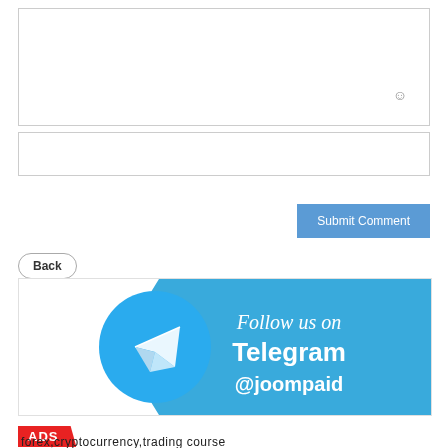[Figure (screenshot): Comment text area input box with emoji icon]
[Figure (screenshot): Second smaller text input box]
Submit Comment
Back
[Figure (illustration): Telegram follow us banner with Telegram logo and text: Follow us on Telegram @joompaid]
ADS
forex,cryptocurrency,trading course
FoxTradeland.com